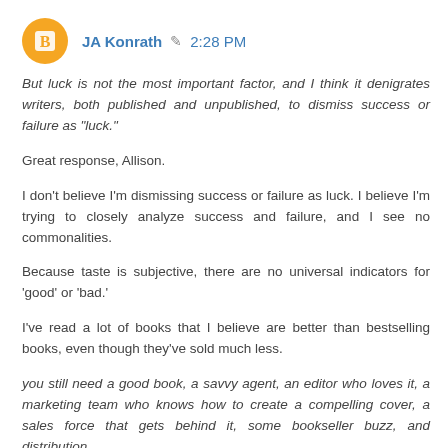JA Konrath  2:28 PM
But luck is not the most important factor, and I think it denigrates writers, both published and unpublished, to dismiss success or failure as "luck."

Great response, Allison.

I don't believe I'm dismissing success or failure as luck. I believe I'm trying to closely analyze success and failure, and I see no commonalities.

Because taste is subjective, there are no universal indicators for 'good' or 'bad.'

I've read a lot of books that I believe are better than bestselling books, even though they've sold much less.

you still need a good book, a savvy agent, an editor who loves it, a marketing team who knows how to create a compelling cover, a sales force that gets behind it, some bookseller buzz, and distribution.